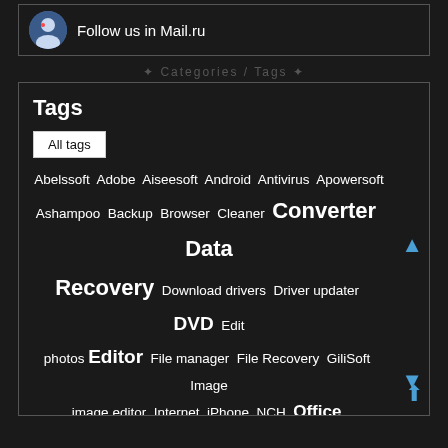[Figure (illustration): Avatar icon with person illustration]
Follow us in Mail.ru
Categories / Tags
Tags
All tags
Abelssoft Adobe Aiseesoft Android Antivirus Apowersoft Ashampoo Backup Browser Cleaner Converter Data Recovery Download drivers Driver updater DVD Edit photos Editor File manager File Recovery GiliSoft Image image editor Internet iPhone NCH Office Optimization Password manager PDF PDF Converter PDF Editor Phot Photo editor Player Portable Recover deleted files Recover files Recovery Registry cleaner RePack by D!akov RePack by KpoJluk Restore Screen Capture Screen Recorder Security System Cleaner System optimization Translator Update drivers Video Video